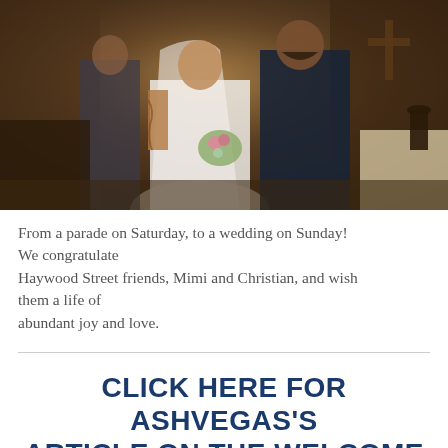[Figure (photo): A wedding ceremony photo inside a church. A bride in a white dress and veil with visible tattoos holds a bouquet, embracing a bearded groom in a dark shirt. An officiant stands in the background. A wooden cross is visible on the wall to the right.]
From a parade on Saturday, to a wedding on Sunday! We congratulate Haywood Street friends, Mimi and Christian, and wish them a life of abundant joy and love.
CLICK HERE FOR ASHVEGAS'S ARTICLE ON THE WELCOME